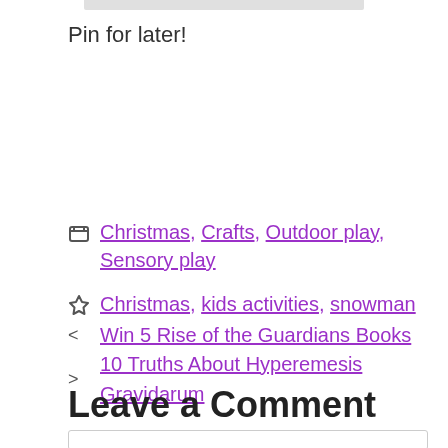[Figure (other): Gray bar at top of page]
Pin for later!
Christmas, Crafts, Outdoor play, Sensory play
Christmas, kids activities, snowman
Win 5 Rise of the Guardians Books
10 Truths About Hyperemesis Gravidarum
Leave a Comment